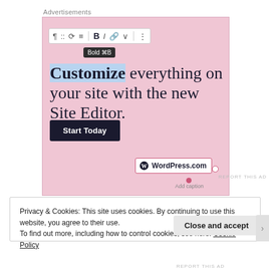Advertisements
[Figure (screenshot): WordPress.com advertisement on a pink background showing a block editor toolbar at top with Bold button highlighted and tooltip 'Bold ⌘B', large serif text reading 'Customize everything on your site with the new Site Editor.', a dark 'Start Today' button, and a WordPress.com logo badge at bottom right. Below the ad an 'Add caption' prompt and 'REPORT THIS AD' text are visible.]
Privacy & Cookies: This site uses cookies. By continuing to use this website, you agree to their use.
To find out more, including how to control cookies, see here: Cookie Policy
Close and accept